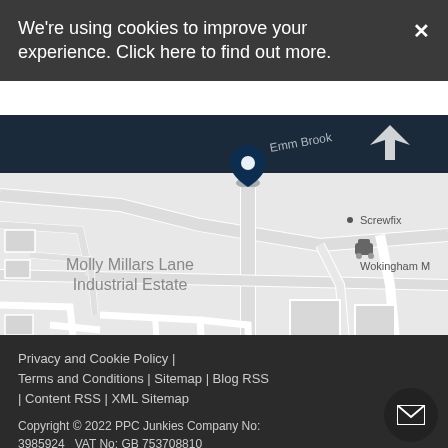We're using cookies to improve your experience. Click here to find out more.
[Figure (map): Street map showing Molly Millars Lane Industrial Estate area with location pin, Screwfix label, Wokingham M label, ham label, obal Knowledge label, and Leaflet attribution in bottom right. Roads shown as white paths on light grey background. Dark blue area at top with Emm Brook label.]
Privacy and Cookie Policy | Terms and Conditions | Sitemap | Blog RSS | Content RSS | XML Sitemap

Copyright © 2022 PPC Junkies Company No: 3985924   VAT No: GB 753708810